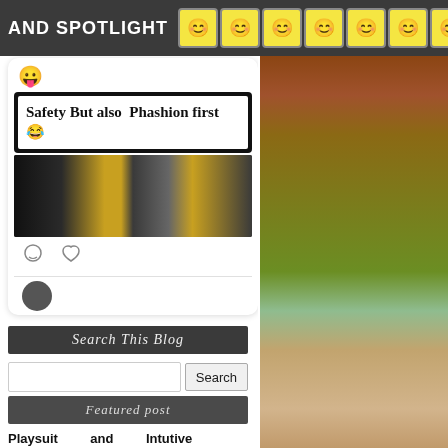AND SPOTLIGHT
[Figure (screenshot): Social media post screenshot showing emoji reaction, text 'Safety But also Phashion first 😂', photo of two people wearing crowns/safety glasses, and comment/like icons]
Search This Blog
Search
Featured post
Playsuit and Intutive Customization-l feat TALONS